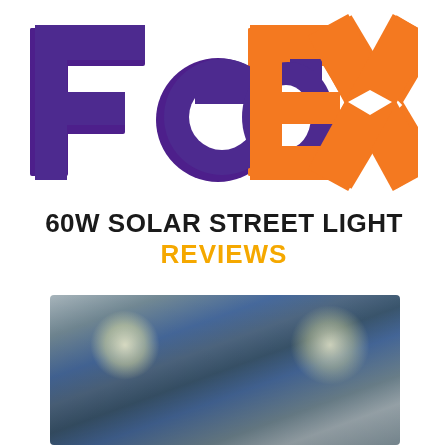[Figure (logo): FedEx logo with 'Fed' in purple and 'Ex' in orange, bold italic style]
60W SOLAR STREET LIGHT
REVIEWS
[Figure (photo): Blurred nighttime photo of street lights illuminating an outdoor area, with bright glowing lights visible]